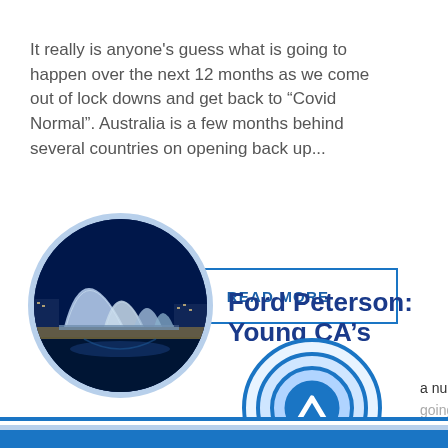It really is anyone's guess what is going to happen over the next 12 months as we come out of lock downs and get back to “Covid Normal”. Australia is a few months behind several countries on opening back up...
READ MORE
[Figure (photo): Circular photo of Sydney Opera House at night with blue lighting, set against a dark navy background]
Ford Peterson: Young CA’s
[Figure (illustration): Concentric blue circles (target/chevron icon) with an upward chevron arrow in the center]
a number of Young CA
going to discover...